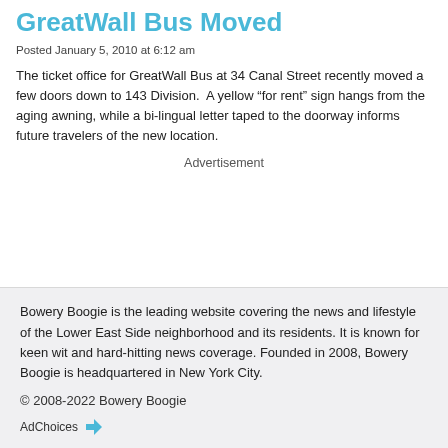GreatWall Bus Moved
Posted January 5, 2010 at 6:12 am
The ticket office for GreatWall Bus at 34 Canal Street recently moved a few doors down to 143 Division.  A yellow “for rent” sign hangs from the aging awning, while a bi-lingual letter taped to the doorway informs future travelers of the new location.
Advertisement
Bowery Boogie is the leading website covering the news and lifestyle of the Lower East Side neighborhood and its residents. It is known for keen wit and hard-hitting news coverage. Founded in 2008, Bowery Boogie is headquartered in New York City.
© 2008-2022 Bowery Boogie
AdChoices